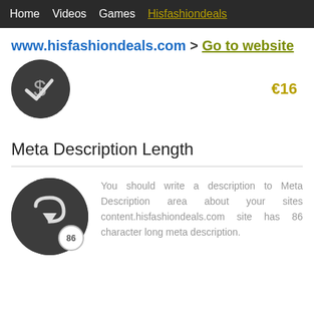Home   Videos   Games   Hisfashiondeals
www.hisfashiondeals.com > Go to website
[Figure (other): Partially visible dark circle icon with a currency/checkmark symbol, cropped at top]
Meta Description Length
[Figure (other): Dark circle icon with an arrow/return symbol and a badge showing 86]
You should write a description to Meta Description area about your sites content.hisfashiondeals.com site has 86 character long meta description.